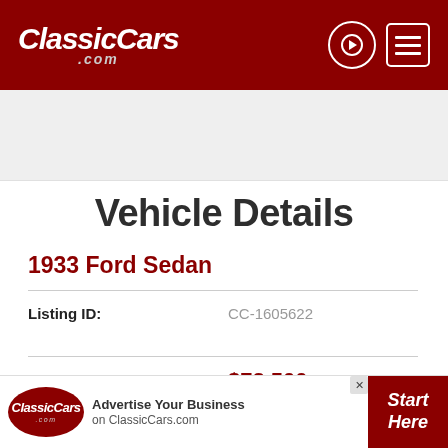ClassicCars.com header with login and menu icons
[Figure (screenshot): Gray advertisement banner area]
Vehicle Details
1933 Ford Sedan
Listing ID: CC-1605622
Price: $72,500
[Figure (logo): Accessibility icon (wheelchair symbol in black circle)]
[Figure (screenshot): ClassicCars.com advertisement banner at bottom: Advertise Your Business on ClassicCars.com, Start Here]